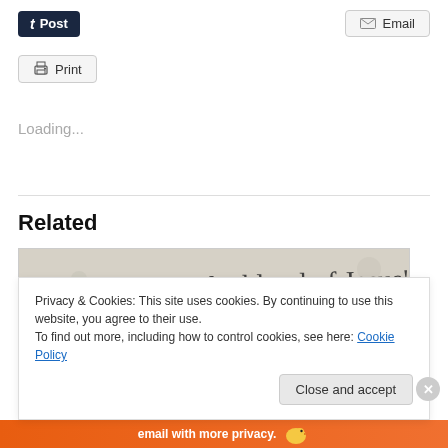[Figure (screenshot): Tumblr Post button (dark navy with 't' icon) and Email button (gray with envelope icon) in a toolbar row]
[Figure (screenshot): Print button (gray with printer icon)]
Loading...
Related
[Figure (photo): Handwritten text on aged paper reading 'Nothing but the blood of Jesus' and 'Iktah kumtux mash...' in cursive]
Privacy & Cookies: This site uses cookies. By continuing to use this website, you agree to their use.
To find out more, including how to control cookies, see here: Cookie Policy
Close and accept
email with more privacy.